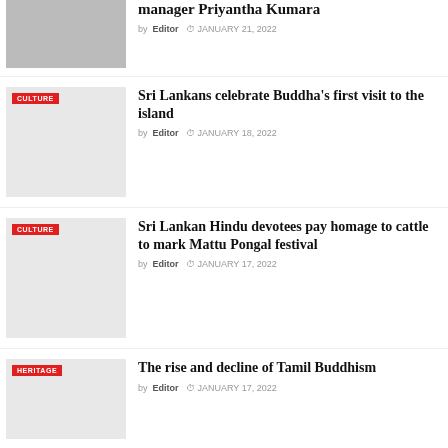[Figure (photo): Photo of people in white clothing, partially visible at top of page]
manager Priyantha Kumara
by Editor  JANUARY 21, 2022
[Figure (photo): Light gray placeholder image with CULTURE badge]
Sri Lankans celebrate Buddha's first visit to the island
by Editor  JANUARY 18, 2022
[Figure (photo): Light gray placeholder image with CULTURE badge]
Sri Lankan Hindu devotees pay homage to cattle to mark Mattu Pongal festival
by Editor  JANUARY 17, 2022
[Figure (photo): Light gray placeholder image with HERITAGE badge]
The rise and decline of Tamil Buddhism
by Editor  JANUARY 17, 2022